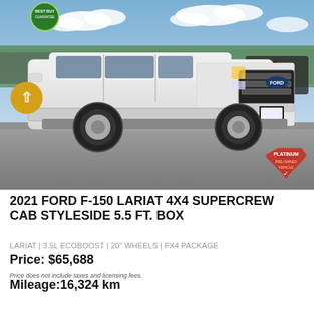[Figure (photo): White 2021 Ford F-150 Lariat pickup truck parked in a dealer lot, front three-quarter view, with blue sky and trees in background. A gold circular navigation arrow is visible on the left side. A 'Best Buy Guarantee' badge is in the top left corner. A 'Platinum Pre-Owned Vehicle' shield badge is in the bottom right corner.]
2021 FORD F-150 LARIAT 4X4 SUPERCREW CAB STYLESIDE 5.5 FT. BOX
LARIAT | 3.5L ECOBOOST | 20" WHEELS | FX4 PACKAGE
Price: $65,688
Price does not include taxes and licensing fees.
Mileage: 16,324 km